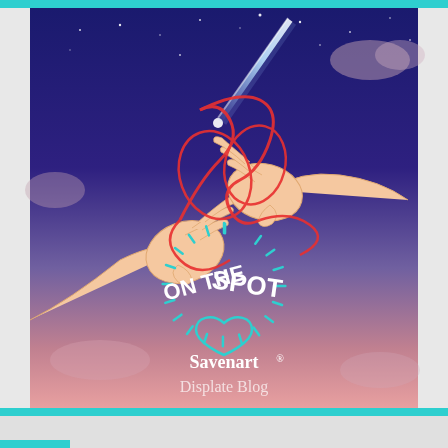[Figure (illustration): Anime-style illustration showing two hands reaching toward each other with a red thread/ribbon connecting them, set against a twilight sky with a comet streaking through. The sky transitions from deep blue at top to pink/purple at bottom. An overlay logo reads 'ON THE SPOT' with a teal heart icon and radiating lines, with 'Savenart' in white below and 'Displate Blog' in lighter text beneath that.]